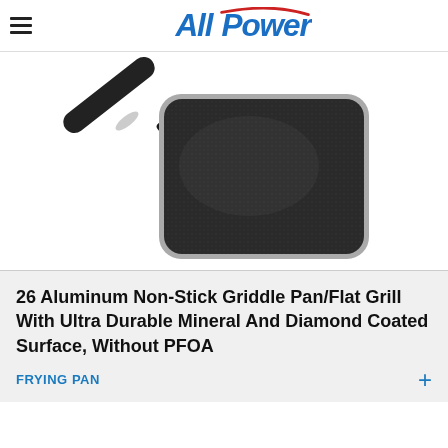All Power
[Figure (photo): A square dark non-stick aluminum griddle pan/flat grill with a long black handle, viewed from above at an angle. The cooking surface is textured and dark grey/black. The pan has a silver rim edge. The handle is black with two silver rivets attaching it to the pan body.]
26 Aluminum Non-Stick Griddle Pan/Flat Grill With Ultra Durable Mineral And Diamond Coated Surface, Without PFOA
FRYING PAN